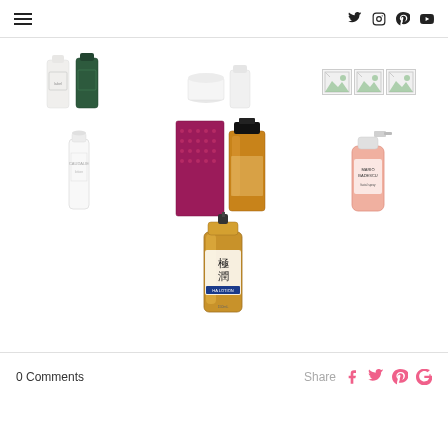Navigation header with hamburger menu and social icons (Twitter, Instagram, Pinterest, YouTube)
[Figure (photo): Two skincare product bottles/containers - white and dark green]
[Figure (photo): Two white skincare containers/jars]
[Figure (photo): Three broken/placeholder images]
[Figure (photo): White tall skincare bottle (Caudalie or similar)]
[Figure (photo): Perfume/fragrance with pink box and amber bottle]
[Figure (photo): Pink spray bottle (Mario Badescu facial spray)]
[Figure (photo): Gold bottle of Hada Labo skincare product with Japanese text]
[Figure (photo): Single broken/placeholder image]
0 Comments
Share